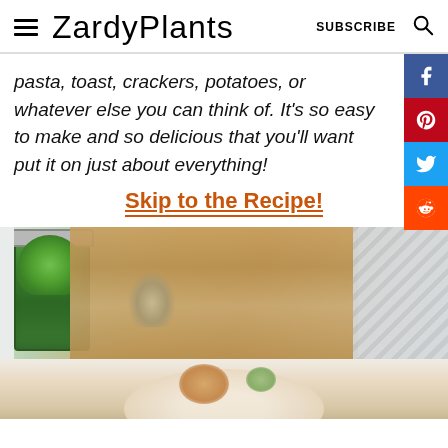ZardyPlants — SUBSCRIBE
pasta, toast, crackers, potatoes, or whatever else you can think of. It's so easy to make and so delicious that you'll want put it on just about everything!
Skip to the Recipe!
[Figure (photo): Photo of a glass jar filled with green herb sauce (pesto) on a wooden cutting board, with sprouts and a striped cloth napkin in the background]
[Figure (photo): Partial photo of a dish with food, seen from above on a light surface]